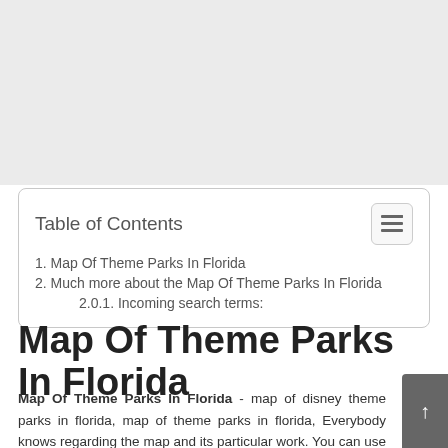[Figure (other): Advertisement / empty ad space at top of page]
Table of Contents
1. Map Of Theme Parks In Florida
2. Much more about the Map Of Theme Parks In Florida
2.0.1. Incoming search terms:
Map Of Theme Parks In Florida
Map Of Theme Parks In Florida - map of disney theme parks in florida, map of theme parks in florida, Everybody knows regarding the map and its particular work. You can use it to